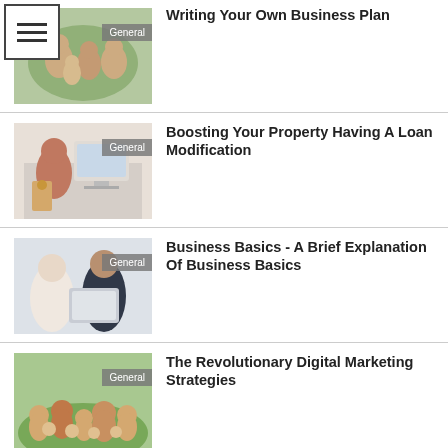[Figure (photo): Family group outdoors - thumbnail for article 1]
Writing Your Own Business Plan
[Figure (photo): Woman at computer desk - thumbnail for article 2]
Boosting Your Property Having A Loan Modification
[Figure (photo): Two business people reviewing documents - thumbnail for article 3]
Business Basics - A Brief Explanation Of Business Basics
[Figure (photo): Family group outdoors on grass - thumbnail for article 4]
The Revolutionary Digital Marketing Strategies